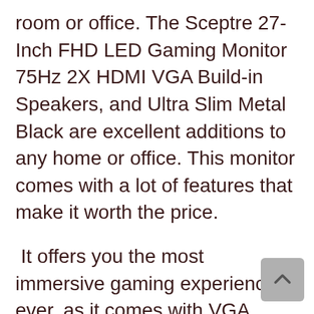room or office. The Sceptre 27-Inch FHD LED Gaming Monitor 75Hz 2X HDMI VGA Build-in Speakers, and Ultra Slim Metal Black are excellent additions to any home or office. This monitor comes with a lot of features that make it worth the price.
It offers you the most immersive gaming experience ever, as it comes with VGA, HDMI and 2X HDMI ports. This 27-Inch LED monitor has a glossy black cabinet that enhances the look of your system. The sleek design makes this monitor ideal for use in any room or office environment. It features a 75Hz refresh rate delivers smooth images without blurring or